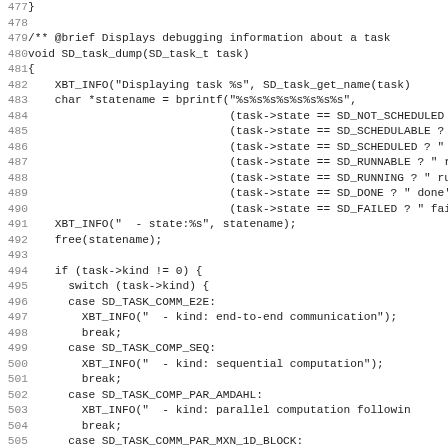[Figure (screenshot): Source code listing (C language) showing function SD_task_dump with line numbers 477-509, displaying task state and kind information using XBT_INFO calls and a switch statement.]